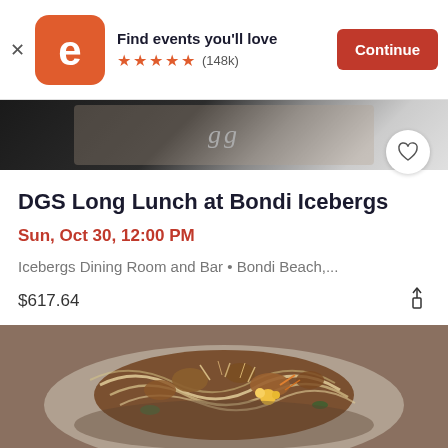[Figure (screenshot): Eventbrite app banner advertisement showing logo, 'Find events you'll love' text, 5 stars with (148k) reviews, and a Continue button]
[Figure (photo): Partial hero image strip from the event listing, appearing as a dark decorative image with cursive text overlay]
DGS Long Lunch at Bondi Icebergs
Sun, Oct 30, 12:00 PM
Icebergs Dining Room and Bar • Bondi Beach,...
$617.64
[Figure (photo): Close-up food photograph of an Asian noodle dish with fried pieces, shredded toppings, edible flowers and herbs on a plate]